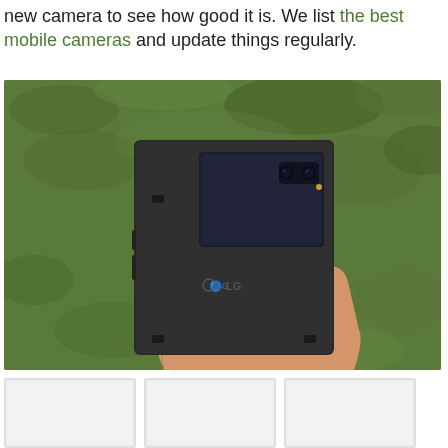new camera to see how good it is. We list the best mobile cameras and update things regularly.
[Figure (photo): A hand holding an LG smartphone in a dark protective case with a window cover showing the camera, photographed outdoors against a green grass background.]
[Figure (photo): Thumbnail image 1 (content not fully visible)]
[Figure (photo): Thumbnail image 2 (content not fully visible)]
[Figure (photo): Thumbnail image 3 (content not fully visible)]